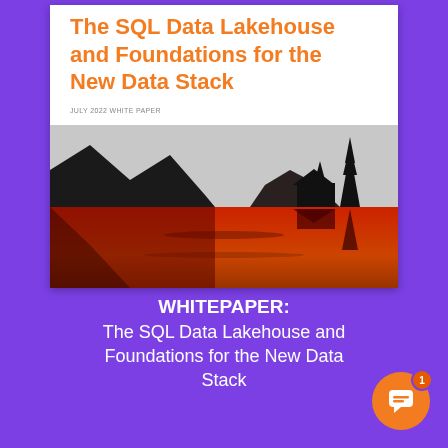The SQL Data Lakehouse and Foundations for the New Data Stack
JULY 2022 WHITE PAPER
[Figure (illustration): Silhouette landscape with mountains, trees, and a house reflected in a lake with orange-red sunset]
WHITEPAPER:
The SQL Data Lakehouse and Foundations for the New Data Stack